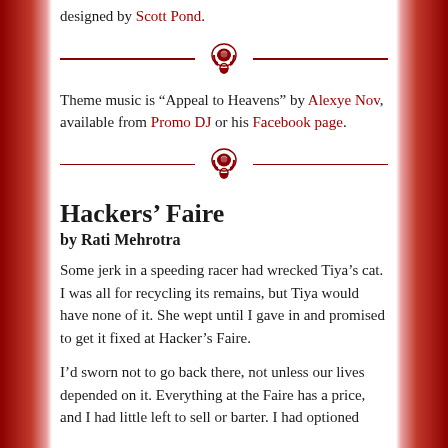designed by Scott Pond.
[Figure (illustration): Decorative divider with horizontal dark red lines and a central headphones/mask icon in dark red]
Theme music is “Appeal to Heavens” by Alexye Nov, available from Promo DJ or his Facebook page.
[Figure (illustration): Decorative divider with horizontal dark red lines and a central headphones/mask icon in dark red]
Hackers’ Faire
by Rati Mehrotra
Some jerk in a speeding racer had wrecked Tiya’s cat. I was all for recycling its remains, but Tiya would have none of it. She wept until I gave in and promised to get it fixed at Hacker’s Faire.
I’d sworn not to go back there, not unless our lives depended on it. Everything at the Faire has a price, and I had little left to sell or barter. I had optioned…